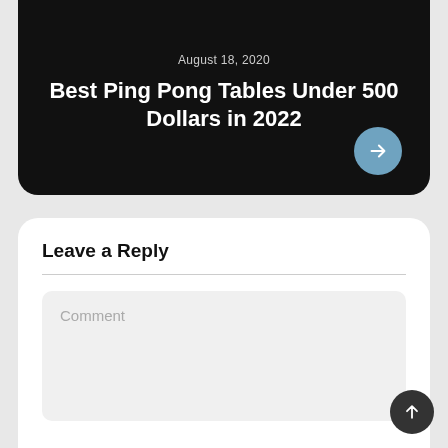August 18, 2020
Best Ping Pong Tables Under 500 Dollars in 2022
Leave a Reply
Comment